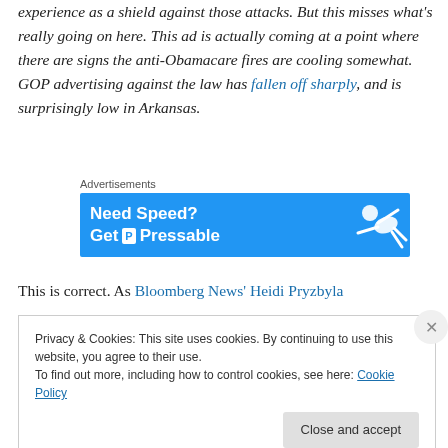experience as a shield against those attacks. But this misses what's really going on here. This ad is actually coming at a point where there are signs the anti-Obamacare fires are cooling somewhat. GOP advertising against the law has fallen off sharply, and is surprisingly low in Arkansas.
[Figure (other): Advertisement banner for Pressable hosting service with blue background, text 'Need Speed? Get Pressable' and a figure of a person diving/flying.]
This is correct. As Bloomberg News' Heidi Pryzbyla
Privacy & Cookies: This site uses cookies. By continuing to use this website, you agree to their use. To find out more, including how to control cookies, see here: Cookie Policy